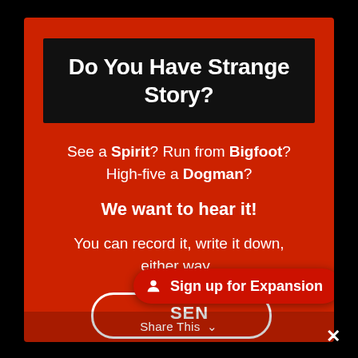Do You Have Strange Story?
See a Spirit? Run from Bigfoot? High-five a Dogman?
We want to hear it!
You can record it, write it down, either way..
SEN
Sign up for Expansion
Share This